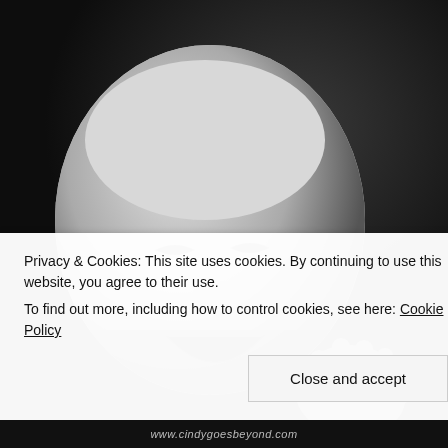[Figure (photo): Black and white close-up photograph of a crying newborn baby with mouth open and hand raised near face, dark background]
Privacy & Cookies: This site uses cookies. By continuing to use this website, you agree to their use.
To find out more, including how to control cookies, see here: Cookie Policy
Close and accept
www.cindygoesbeyond.com